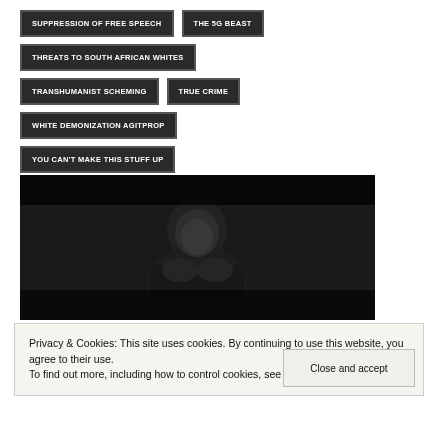SUPPRESSION OF FREE SPEECH
THE 5G BEAST
THREATS TO SOUTH AFRICAN WHITES
TRANSHUMANIST SCHEMING
TRUE CRIME
WHITE DEMONIZATION AGITPROP
YOU CAN'T MAKE THIS STUFF UP
[Figure (photo): Dark black-and-white photograph of a person, appears to be a figure hunched or looking down, dark dramatic lighting]
Privacy & Cookies: This site uses cookies. By continuing to use this website, you agree to their use.
To find out more, including how to control cookies, see here: Cookie Policy
Close and accept